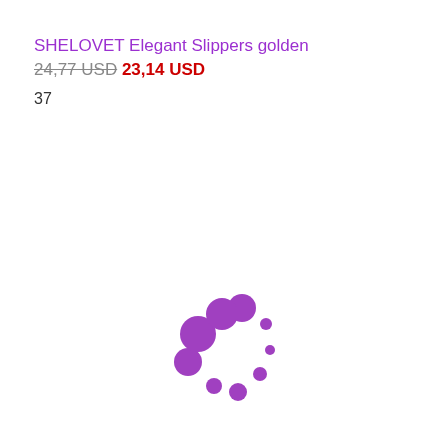SHELOVET Elegant Slippers golden
24,77 USD 23,14 USD
37
[Figure (other): Purple loading spinner animation graphic — a circular arrangement of dots of varying sizes in purple/violet color, positioned in the lower-center of the page.]